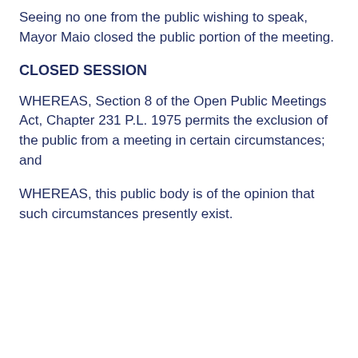Seeing no one from the public wishing to speak, Mayor Maio closed the public portion of the meeting.
CLOSED SESSION
WHEREAS, Section 8 of the Open Public Meetings Act, Chapter 231 P.L. 1975 permits the exclusion of the public from a meeting in certain circumstances; and
WHEREAS, this public body is of the opinion that such circumstances presently exist.